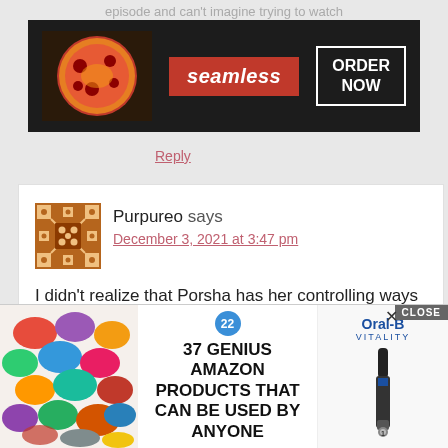episode and can't imagine trying to watch
[Figure (screenshot): Seamless food delivery advertisement banner with pizza image on dark background, red Seamless logo, and white ORDER NOW button]
Reply
[Figure (screenshot): Blog comment by user Purpureo with avatar, dated December 3, 2021 at 3:47 pm, reading: I didn't realize that Porsha has her controlling ways too. The whole thing about wanting Dennis to come but not bring a pretty date was cringey. Why is she jealous? She acts like she w...]
[Figure (screenshot): Bottom advertisement: 37 Genius Amazon Products That Can Be Used By Anyone, with scrunchies image and Oral-B Vitality toothbrush, with CLOSE button overlay]